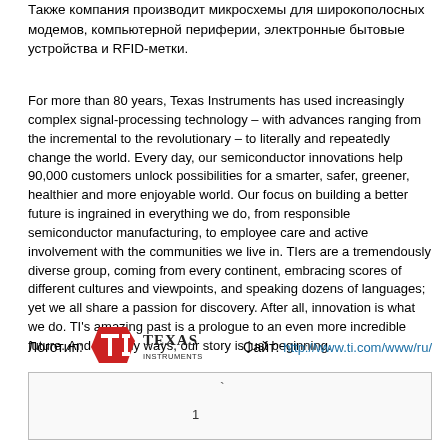Также компания производит микросхемы для широкополосных модемов, компьютерной периферии, электронные бытовые устройства и RFID-метки.
For more than 80 years, Texas Instruments has used increasingly complex signal-processing technology – with advances ranging from the incremental to the revolutionary – to literally and repeatedly change the world. Every day, our semiconductor innovations help 90,000 customers unlock possibilities for a smarter, safer, greener, healthier and more enjoyable world. Our focus on building a better future is ingrained in everything we do, from responsible semiconductor manufacturing, to employee care and active involvement with the communities we live in. TIers are a tremendously diverse group, coming from every continent, embracing scores of different cultures and viewpoints, and speaking dozens of languages; yet we all share a passion for discovery. After all, innovation is what we do. TI's amazing past is a prologue to an even more incredible future. And in many ways, our story is just beginning.
[Figure (logo): Texas Instruments logo with red TI symbol and TEXAS INSTRUMENTS text]
Сайт: http://www.ti.com/www/ru/
` 1